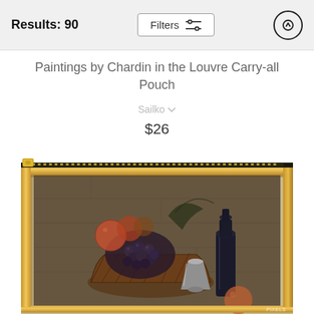Results: 90
Paintings by Chardin in the Louvre Carry-all Pouch
Sailko
$26
[Figure (photo): A carry-all pouch product featuring a reproduction of a Chardin still life painting from the Louvre. The painting shows a wicker basket filled with grapes and fruit, a dark glass bottle, a silver goblet, and peaches, set against a stone wall background. The pouch has a gold zipper at the top and a gold decorative frame printed on it.]